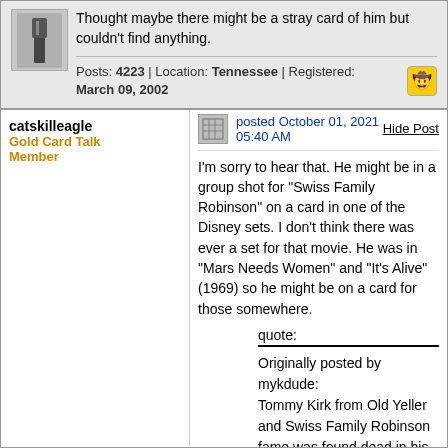Thought maybe there might be a stray card of him but couldn't find anything.
Posts: 4223 | Location: Tennessee | Registered: March 09, 2002
catskilleagle
Gold Card Talk Member
posted October 01, 2021 05:40 AM
Hide Post
I'm sorry to hear that. He might be in a group shot for "Swiss Family Robinson" on a card in one of the Disney sets. I don't think there was ever a set for that movie. He was in "Mars Needs Women" and "It's Alive" (1969) so he might be on a card for those somewhere.
quote:
Originally posted by mykdude:
Tommy Kirk from Old Yeller and Swiss Family Robinson fame was found dead in his Las Vegas home.

Thought maybe there might be a stray card of him but couldn't find anything.
Posts: 3413 | Location: San Jose, CA